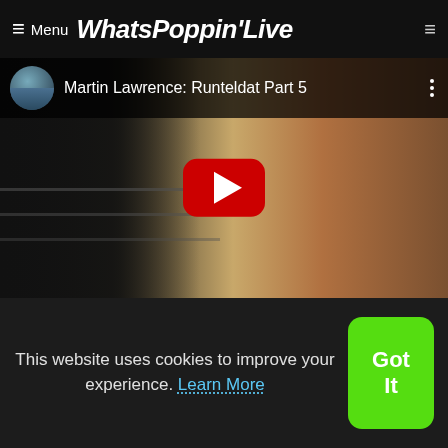≡ Menu WhatsPoppin'Live
[Figure (screenshot): YouTube video thumbnail for 'Martin Lawrence: Runteldat Part 5' with red play button overlay and YouTube-style top bar with channel thumbnail]
[Figure (photo): Article card image with red and green elements]
British Slang Doesn't Make Any Sense Chris Diste
This website uses cookies to improve your experience. Learn More
Got It